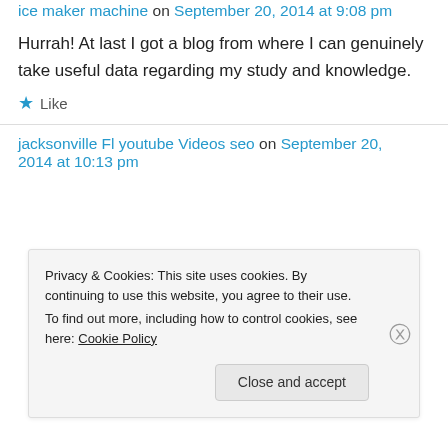ice maker machine on September 20, 2014 at 9:08 pm
Hurrah! At last I got a blog from where I can genuinely take useful data regarding my study and knowledge.
★ Like
jacksonville Fl youtube Videos seo on September 20, 2014 at 10:13 pm
Privacy & Cookies: This site uses cookies. By continuing to use this website, you agree to their use.
To find out more, including how to control cookies, see here: Cookie Policy
Close and accept